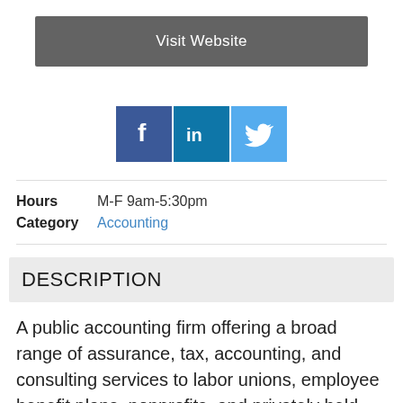Visit Website
[Figure (infographic): Social media icons: Facebook (blue square with 'f'), LinkedIn (blue square with 'in'), Twitter (light blue square with bird logo)]
Hours  M-F 9am-5:30pm
Category  Accounting
DESCRIPTION
A public accounting firm offering a broad range of assurance, tax, accounting, and consulting services to labor unions, employee benefit plans, nonprofits, and privately held and family owned businesses.